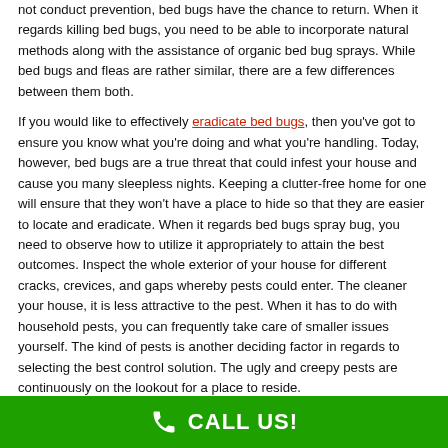not conduct prevention, bed bugs have the chance to return. When it regards killing bed bugs, you need to be able to incorporate natural methods along with the assistance of organic bed bug sprays. While bed bugs and fleas are rather similar, there are a few differences between them both.

If you would like to effectively eradicate bed bugs, then you've got to ensure you know what you're doing and what you're handling. Today, however, bed bugs are a true threat that could infest your house and cause you many sleepless nights. Keeping a clutter-free home for one will ensure that they won't have a place to hide so that they are easier to locate and eradicate. When it regards bed bugs spray bug, you need to observe how to utilize it appropriately to attain the best outcomes. Inspect the whole exterior of your house for different cracks, crevices, and gaps whereby pests could enter. The cleaner your house, it is less attractive to the pest. When it has to do with household pests, you can frequently take care of smaller issues yourself. The kind of pests is another deciding factor in regards to selecting the best control solution. The ugly and creepy pests are continuously on the lookout for a place to reside.
CALL US!